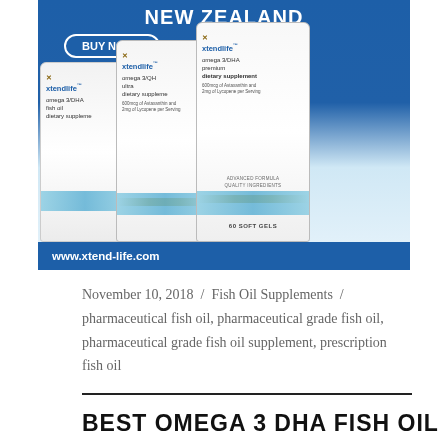[Figure (photo): Xtendlife omega-3 supplement product advertisement showing three white supplement bottles (omega 3/DHA fish oil, omega 3/QH ultra dietary supplement, omega 3/DHA premium dietary supplement) against a blue background with 'NEW ZEALAND' text, a 'BUY NOW' button, and www.xtend-life.com URL bar at the bottom.]
November 10, 2018 / Fish Oil Supplements / pharmaceutical fish oil, pharmaceutical grade fish oil, pharmaceutical grade fish oil supplement, prescription fish oil
BEST OMEGA 3 DHA FISH OIL